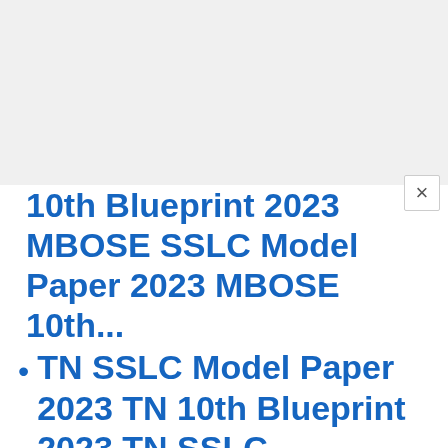10th Blueprint 2023 MBOSE SSLC Model Paper 2023 MBOSE 10th...
TN SSLC Model Paper 2023 TN 10th Blueprint 2023 TN SSLC Question Paper 2023 TN 10th Exam Pattern...
Maha SSC Model Paper 2023 Maha 10th Blueprint 2023 Maha